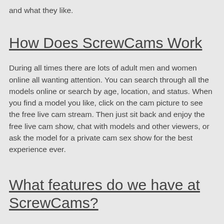and what they like.
How Does ScrewCams Work
During all times there are lots of adult men and women online all wanting attention. You can search through all the models online or search by age, location, and status. When you find a model you like, click on the cam picture to see the free live cam stream. Then just sit back and enjoy the free live cam show, chat with models and other viewers, or ask the model for a private cam sex show for the best experience ever.
What features do we have at ScrewCams?